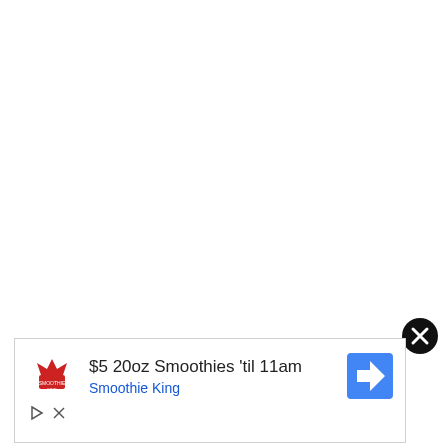[Figure (other): Black circle close/dismiss button with white X]
[Figure (infographic): Advertisement banner for Smoothie King: '$5 20oz Smoothies ‘til 11am' with Smoothie King logo and navigation arrow icon, plus ad disclosure icons]